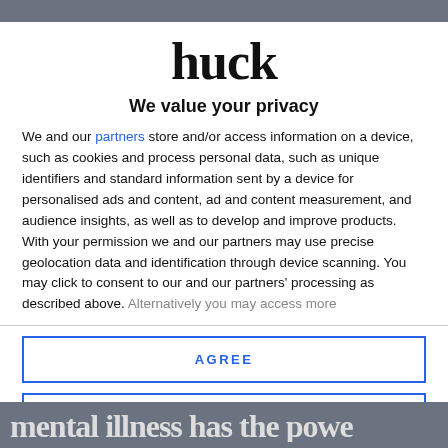huck
We value your privacy
We and our partners store and/or access information on a device, such as cookies and process personal data, such as unique identifiers and standard information sent by a device for personalised ads and content, ad and content measurement, and audience insights, as well as to develop and improve products. With your permission we and our partners may use precise geolocation data and identification through device scanning. You may click to consent to our and our partners' processing as described above. Alternatively you may access more
AGREE
MORE OPTIONS
mental illness has the powe